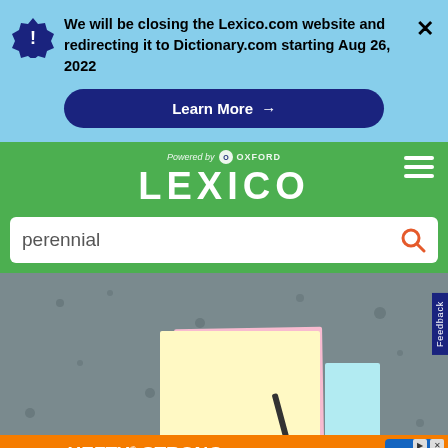We will be closing the Lexico.com website and redirecting it to Dictionary.com starting Aug 26, 2022
Learn More →
[Figure (screenshot): Lexico powered by Oxford logo on green header]
perennial
[Figure (photo): Sticky notes in pastel colors (yellow, pink, blue) on a dark grey stone background]
[Figure (infographic): Hefty advertisement: HEFTY STRONG, FABULOSO FRESH]